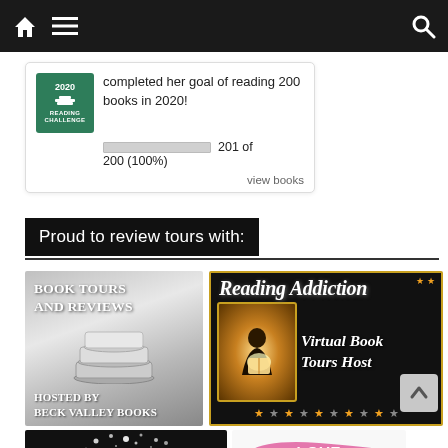Navigation bar with home, menu, and search icons
[Figure (screenshot): Reading Challenge badge: 2020 Reading Challenge, completed her goal of reading 200 books in 2020! Progress bar showing 201 of 200 (100%). View books link.]
completed her goal of reading 200 books in 2020!
201 of 200 (100%)
view books
Proud to review tours with:
[Figure (logo): Book Tours and Reviews badge - Hosted by Beck Valley Books, showing stacked books illustration on silver/grey background]
[Figure (logo): Reading Addiction Virtual Book Tours Host badge - black background with gold border, woman reading glowing book, orange stars]
[Figure (logo): Dark badge with sparkles/fairy wand illustration]
[Figure (logo): Love Books badge with pink brushstroke background]